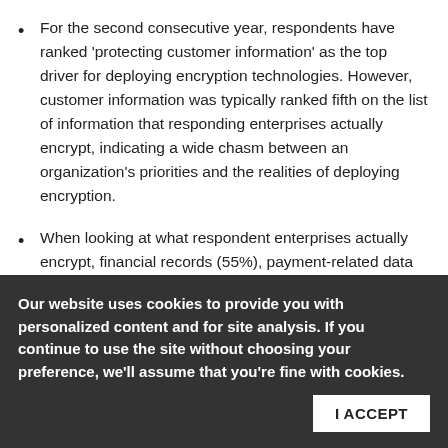For the second consecutive year, respondents have ranked 'protecting customer information' as the top driver for deploying encryption technologies. However, customer information was typically ranked fifth on the list of information that responding enterprises actually encrypt, indicating a wide chasm between an organization's priorities and the realities of deploying encryption.
When looking at what respondent enterprises actually encrypt, financial records (55%), payment-related data (55%), employee/HR data (48%) and intellectual property (48%) all outranked customer personal information (42%).
Compliance – which until recently was ranked as the top reason for deploying encryption in the Ponemon Institute survey, identified threats (50%), and protection of intellectual property (49%) all rank higher than compliance, which came in at 45%.
Our website uses cookies to provide you with personalized content and for site analysis. If you continue to use the site without choosing your preference, we'll assume that you're fine with cookies.